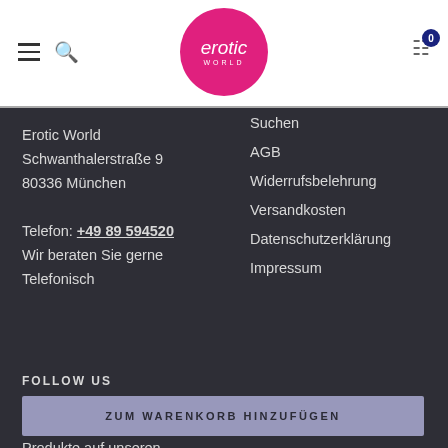[Figure (logo): Erotic World circular pink logo with white script text]
Erotic World
Schwanthalerstraße 9
80336 München

Telefon: +49 89 594520
Wir beraten Sie gerne
Telefonisch
Suchen
AGB
Widerrufsbelehrung
Versandkosten
Datenschutzerklärung
Impressum
FOLLOW US
ZUM WARENKORB HINZUFÜGEN
Produkte auf unseren